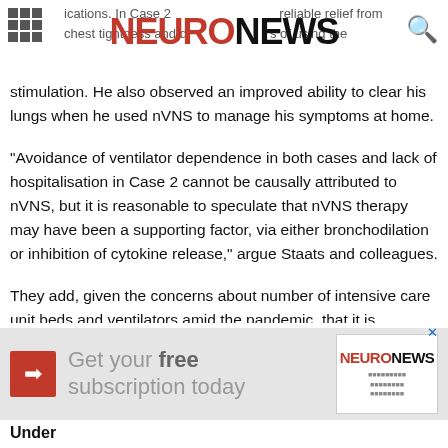NEURONEWS
ications. In Case [2] ... reliable relief from chest tightness and d[yspnea] ... s of using the stimulation. He also observed an improved ability to clear his lungs when he used nVNS to manage his symptoms at home.
"Avoidance of ventilator dependence in both cases and lack of hospitalisation in Case 2 cannot be causally attributed to nVNS, but it is reasonable to speculate that nVNS therapy may have been a supporting factor, via either bronchodilation or inhibition of cytokine release," argue Staats and colleagues.
They add, given the concerns about number of intensive care unit beds and ventilators amid the pandemic, that it is "imperative to consider all viable therapeutic options". Thus, they put forward that "the well-established safety and tolerability of nVNS therapy make it a particularly attractive treatment modality that merits immediate study"
[Figure (infographic): Advertisement banner: Get your free subscription today with NeuroNews logo]
Under